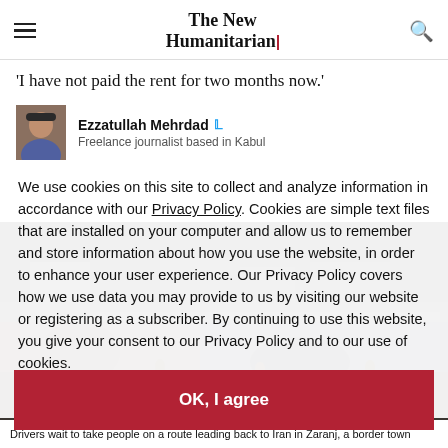The New Humanitarian
'I have not paid the rent for two months now.'
Ezzatullah Mehrdad
Freelance journalist based in Kabul
We use cookies on this site to collect and analyze information in accordance with our Privacy Policy. Cookies are simple text files that are installed on your computer and allow us to remember and store information about how you use the website, in order to enhance your user experience. Our Privacy Policy covers how we use data you may provide to us by visiting our website or registering as a subscriber. By continuing to use this website, you give your consent to our Privacy Policy and to our use of cookies.
OK, I agree
[Figure (photo): Drivers wait to take people on a route leading back to Iran in Zaranj, a border town]
Drivers wait to take people on a route leading back to Iran in Zaranj, a border town